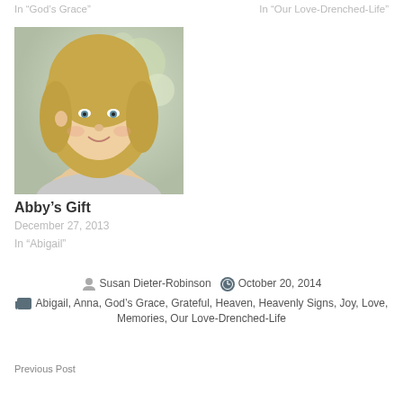In “God’s Grace”
In “Our Love-Drenched-Life”
[Figure (photo): Portrait photo of a young blonde girl smiling, outdoor blurred background]
Abby’s Gift
December 27, 2013
In “Abigail”
Susan Dieter-Robinson   October 20, 2014
Abigail, Anna, God’s Grace, Grateful, Heaven, Heavenly Signs, Joy, Love, Memories, Our Love-Drenched-Life
Previous Post